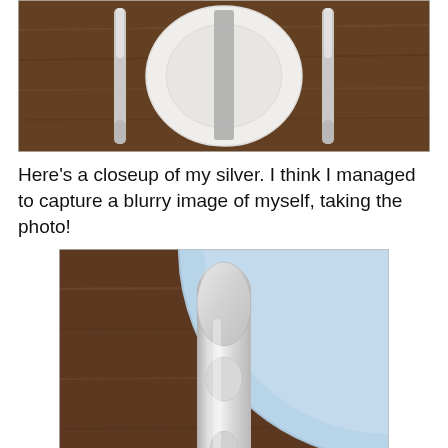[Figure (photo): Top-down photo of a formal place setting on a dark wood table, showing a white plate with a gray folded napkin, flanked by ornate silver cutlery on both sides.]
Here's a closeup of my silver.  I think I managed to capture a blurry image of myself, taking the photo!
[Figure (photo): Close-up photo of an ornate silver spoon handle resting on a dark wood table, with the right portion of a light blue plate visible in the upper right corner.]
At first, I'd planned to arrange the tulips in a pretty crystal vase, but then I had an (all-too-rare!) brainstorm.  I remembered the plain cylindrical bud vases we'd used on tables for my son's rehearsal dinner and wondered if they'd work with the same black iron candleholder I used with